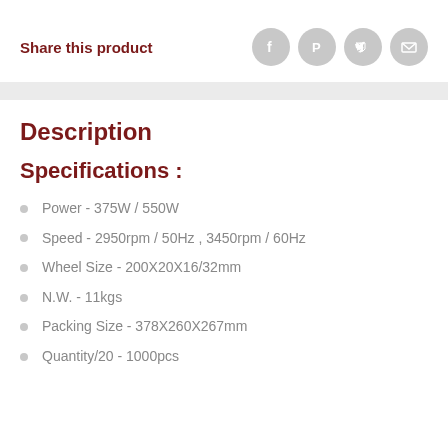Share this product
Description
Specifications :
Power - 375W / 550W
Speed - 2950rpm / 50Hz , 3450rpm / 60Hz
Wheel Size - 200X20X16/32mm
N.W. - 11kgs
Packing Size - 378X260X267mm
Quantity/20 - 1000pcs